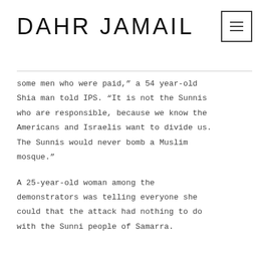DAHR JAMAIL
some men who were paid,” a 54 year-old Shia man told IPS. “It is not the Sunnis who are responsible, because we know the Americans and Israelis want to divide us. The Sunnis would never bomb a Muslim mosque.”
A 25-year-old woman among the demonstrators was telling everyone she could that the attack had nothing to do with the Sunni people of Samarra.